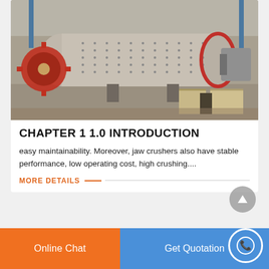[Figure (photo): Industrial ball mill / grinding mill equipment in a factory warehouse, large grey cylindrical drum with red gear on left, motor on right, cardboard boxes and metal parts on floor]
CHAPTER 1 1.0 INTRODUCTION
easy maintainability. Moreover, jaw crushers also have stable performance, low operating cost, high crushing....
MORE DETAILS
Online Chat
Get Quotation